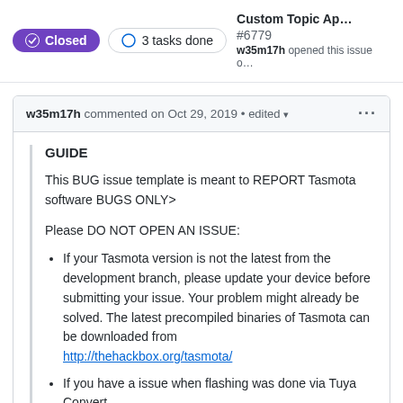Closed | 3 tasks done | Custom Topic Ap... #6779 | w35m17h opened this issue o...
w35m17h commented on Oct 29, 2019 • edited ▾ ···
GUIDE
This BUG issue template is meant to REPORT Tasmota software BUGS ONLY>
Please DO NOT OPEN AN ISSUE:
If your Tasmota version is not the latest from the development branch, please update your device before submitting your issue. Your problem might already be solved. The latest precompiled binaries of Tasmota can be downloaded from http://thehackbox.org/tasmota/
If you have a issue when flashing was done via Tuya Convert